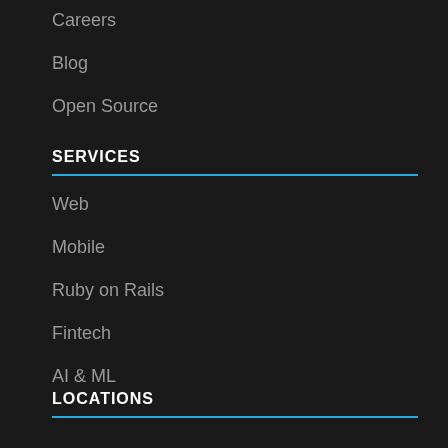Careers
Blog
Open Source
SERVICES
Web
Mobile
Ruby on Rails
Fintech
AI & ML
LOCATIONS